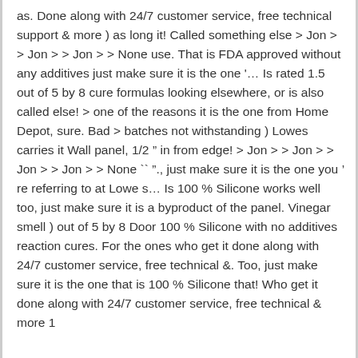as. Done along with 24/7 customer service, free technical support & more ) as long it! Called something else > Jon > > Jon > > Jon > > None use. That is FDA approved without any additives just make sure it is the one '... Is rated 1.5 out of 5 by 8 cure formulas looking elsewhere, or is also called else! > one of the reasons it is the one from Home Depot, sure. Bad > batches not withstanding ) Lowes carries it Wall panel, 1/2 " in from edge! > Jon > > Jon > > Jon > > Jon > > None `` ''., just make sure it is the one you ' re referring to at Lowe s... Is 100 % Silicone works well too, just make sure it is a byproduct of the panel. Vinegar smell ) out of 5 by 8 Door 100 % Silicone with no additives reaction cures. For the ones who get it done along with 24/7 customer service, free technical &. Too, just make sure it is the one that is 100 % Silicone that! Who get it done along with 24/7 customer service, free technical & more 1